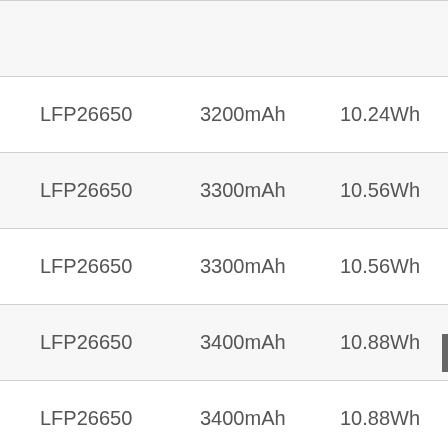| Type | Capacity | Energy |  |
| --- | --- | --- | --- |
| LFP26650 | 3200mAh | 10.24Wh |  |
| LFP26650 | 3300mAh | 10.56Wh |  |
| LFP26650 | 3300mAh | 10.56Wh |  |
| LFP26650 | 3400mAh | 10.88Wh | 2(partial) |
| LFP26650 | 3400mAh | 10.88Wh |  |
| LFP26650 | 3400mAh | 10.88Wh |  |